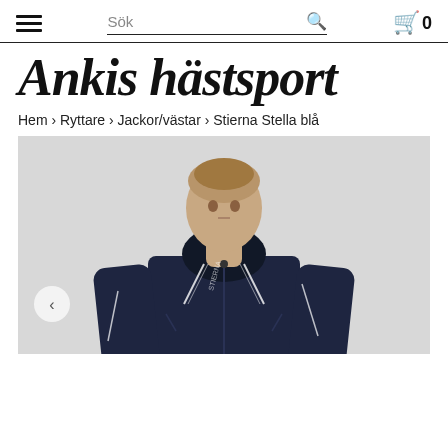≡  Sök 🔍  🛒 0
Ankis hästsport
Hem › Ryttare › Jackor/västar › Stierna Stella blå
[Figure (photo): Woman wearing a dark navy blue Stierna Stella jacket with white reflective piping details and hood, standing against a light grey background. The jacket has a sporty equestrian style.]